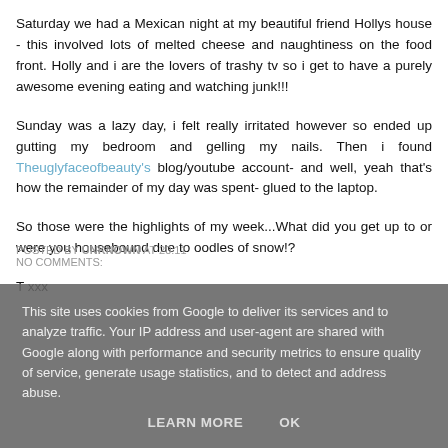Saturday we had a Mexican night at my beautiful friend Hollys house - this involved lots of melted cheese and naughtiness on the food front.  Holly and i are the lovers of trashy tv so i get to have a purely awesome evening eating and watching junk!!!
Sunday was a lazy day, i felt really irritated however so ended up gutting my bedroom and gelling my nails.  Then i found Theuglyfaceofbeauty's blog/youtube account- and well, yeah that's how the remainder of my day was spent- glued to the laptop.
So those were the highlights of my week...What did you get up to or were you housebound due to oodles of snow!?
T xxx
POSTED BY UNKNOWN AT 20:11  NO COMMENTS:
This site uses cookies from Google to deliver its services and to analyze traffic. Your IP address and user-agent are shared with Google along with performance and security metrics to ensure quality of service, generate usage statistics, and to detect and address abuse.
LEARN MORE   OK